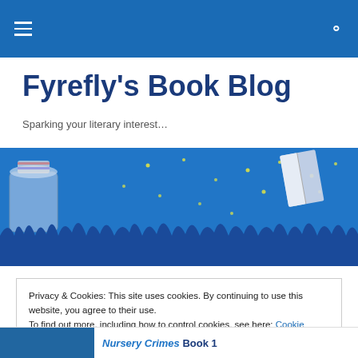Fyrefly's Book Blog navigation header with hamburger menu and search icon
Fyrefly's Book Blog
Sparking your literary interest…
[Figure (illustration): Banner image showing fireflies, a jar, grass silhouettes on blue background with an open book on the right side]
Privacy & Cookies: This site uses cookies. By continuing to use this website, you agree to their use.
To find out more, including how to control cookies, see here: Cookie Policy
Close and accept
Nursery Crimes Book 1